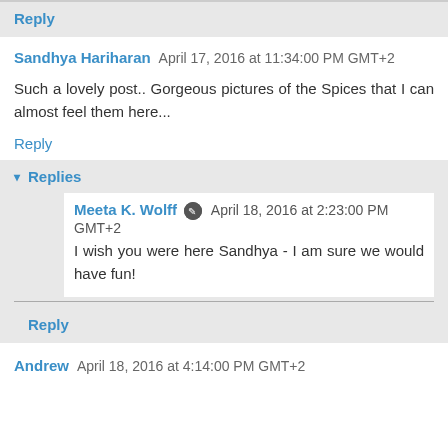Reply
Sandhya Hariharan  April 17, 2016 at 11:34:00 PM GMT+2
Such a lovely post.. Gorgeous pictures of the Spices that I can almost feel them here...
Reply
Replies
Meeta K. Wolff  April 18, 2016 at 2:23:00 PM GMT+2
I wish you were here Sandhya - I am sure we would have fun!
Reply
Andrew  April 18, 2016 at 4:14:00 PM GMT+2